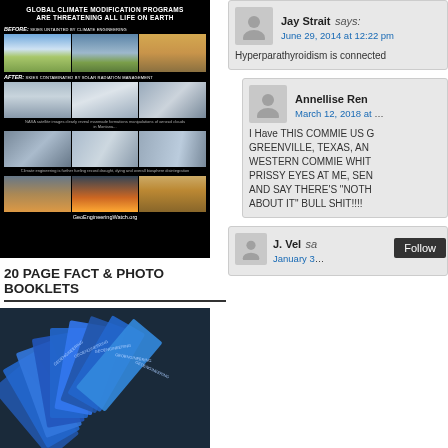[Figure (photo): Black background poster titled 'Global Climate Modification Programs Are Threatening All Life On Earth' with before/after sky photos and GeoEngineeringWatch.org URL]
20 PAGE FACT & PHOTO BOOKLETS
[Figure (photo): Fan of blue GeoEngineering Watch booklets spread out]
Jay Strait says:
June 29, 2014 at 12:22 pm
Hyperparathyroidism is connected
Annellise Ren
March 12, 2018 at
I Have THIS COMMIE US G GREENVILLE, TEXAS, AN WESTERN COMMIE WHIT PRISSY EYES AT ME, SEN AND SAY THERE'S "NOTH ABOUT IT" BULL SHIT!!!!
J. Vel sa
January 3